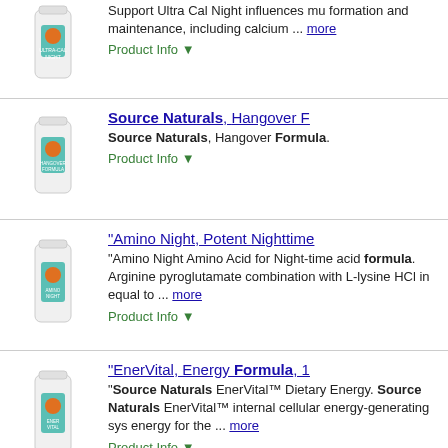[Figure (photo): Ultra Cal Night supplement bottle]
Support Ultra Cal Night influences mu formation and maintenance, including calcium ... more
Product Info ▼
[Figure (photo): Source Naturals Hangover Formula supplement bottle]
Source Naturals, Hangover Formula
Source Naturals, Hangover Formula.
Product Info ▼
[Figure (photo): Amino Night supplement bottle]
"Amino Night, Potent Nighttime
"Amino Night Amino Acid for Night-time acid formula. Arginine pyroglutamate combination with L-lysine HCl in equal to ... more
Product Info ▼
[Figure (photo): EnerVital Energy Formula supplement bottle]
"EnerVital, Energy Formula, 1
"Source Naturals EnerVital™ Dietary Energy. Source Naturals EnerVital™ internal cellular energy-generating sys energy for the ... more
Product Info ▼
Ads related to source naturals inflama rest joint formul